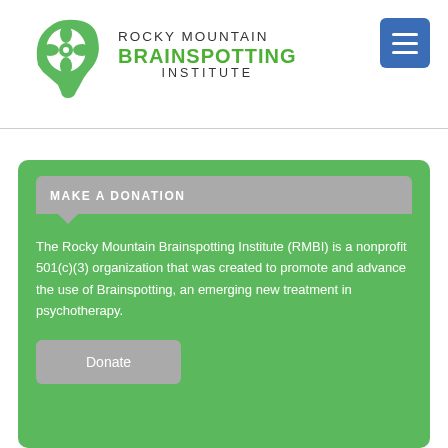[Figure (logo): Rocky Mountain Brainspotting Institute logo — green stylized brain/head silhouette with flower emblem, and text 'ROCKY MOUNTAIN BRAINSPOTTING INSTITUTE']
MAKE A DONATION
The Rocky Mountain Brainspotting Institute (RMBI) is a nonprofit 501(c)(3) organization that was created to promote and advance the use of Brainspotting, an emerging new treatment in psychotherapy.
Donate